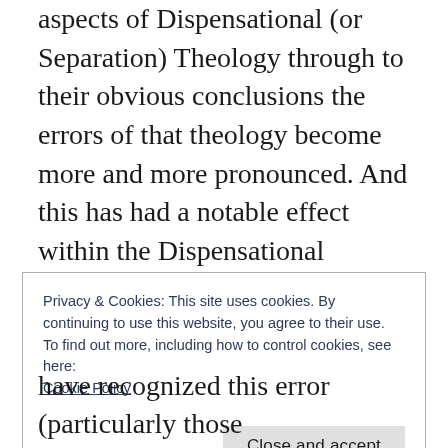aspects of Dispensational (or Separation) Theology through to their obvious conclusions the errors of that theology become more and more pronounced. And this has had a notable effect within the Dispensational community. There is somewhat of a rift among the ranks of those who hold to that line of theology. I guess you could sum up this internal debate as ‘moderate’ versus ‘hyper’ Dispensationalists.
Privacy & Cookies: This site uses cookies. By continuing to use this website, you agree to their use.
To find out more, including how to control cookies, see here: Cookie Policy
Close and accept
have recognized this error (particularly those